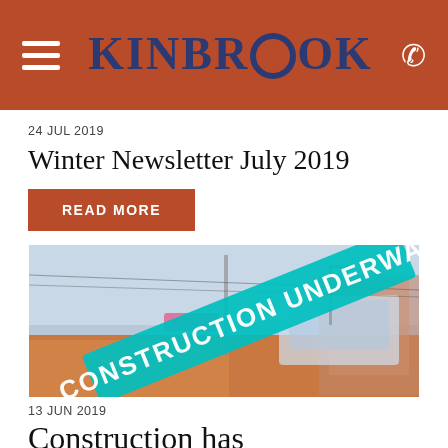KINBROOK
24 JUL 2019
Winter Newsletter July 2019
READ MORE
[Figure (photo): Street construction scene with a teal diagonal banner reading CONSTRUCTION UNDERWAY overlaid on a blurred urban street photo with a tram/bus visible]
13 JUN 2019
Construction has